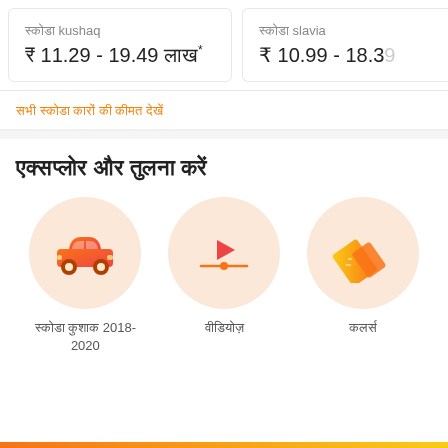स्कोडा kushaq ₹ 11.29 - 19.49 लाख*
स्कोडा slavia ₹ 10.99 - 18.39
सभी स्कोडा कारों की कीमत देखें
एक्सप्लोर और तुलना करें
[Figure (illustration): Orange car icon inside a peach circle]
स्कोडा कुशाक 2018-2020
[Figure (illustration): Video play button icon inside a peach circle]
वीडियोज़
[Figure (illustration): Ruler/tools icon inside a peach circle]
कलर्स